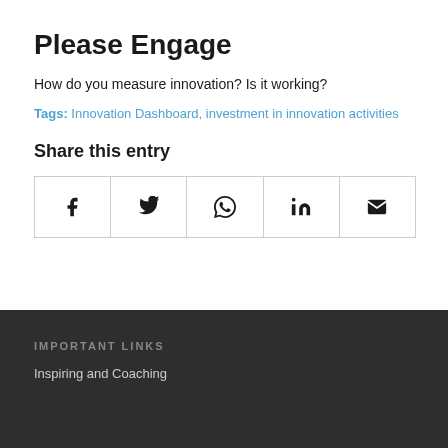Please Engage
How do you measure innovation? Is it working?
Tags: Innovation Dashboard, investment in innovation activities
Share this entry
[Figure (other): Social share buttons row: Facebook, Twitter, WhatsApp, LinkedIn, Email icons in bordered cells]
IMPORTANT LINKS
Inspiring and Coaching